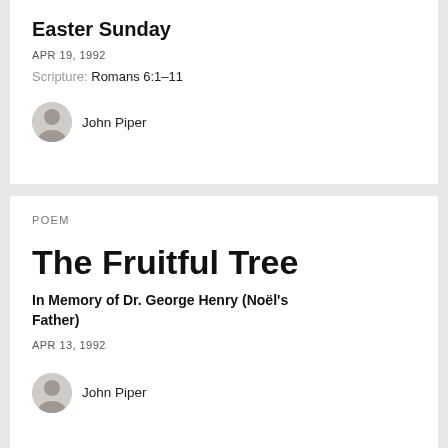Easter Sunday
APR 19, 1992
Scripture: Romans 6:1–11
John Piper
POEM
The Fruitful Tree
In Memory of Dr. George Henry (Noël's Father)
APR 13, 1992
John Piper